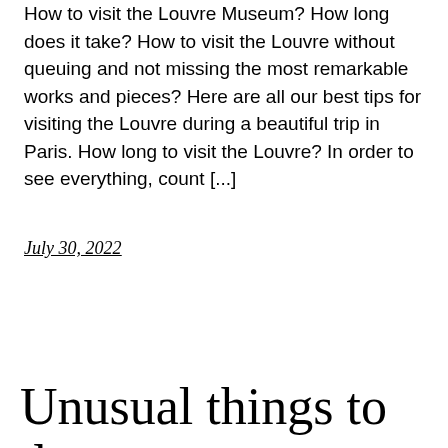How to visit the Louvre Museum? How long does it take? How to visit the Louvre without queuing and not missing the most remarkable works and pieces? Here are all our best tips for visiting the Louvre during a beautiful trip in Paris. How long to visit the Louvre? In order to see everything, count [...]
July 30, 2022
Unusual things to do